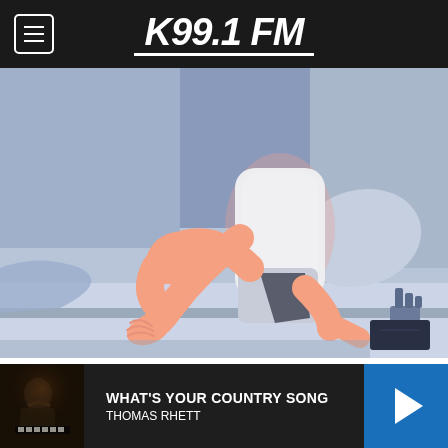K99.1 FM
[Figure (illustration): Illustration of a person sitting on a bed, holding their knee/leg, suggesting joint pain. The person wears a white tank top and grey shorts. The scene uses flat illustration style with muted purple, pink, and dark navy tones.]
Red Flag Signs of Psoriatic Arthritis Most People May Not Be Aware Of
Psoriatic Arthritis | Search Ads
[Figure (photo): Dark-toned photo of a male musician at a piano or keyboard instrument, used as album/music thumbnail for Thomas Rhett's 'What's Your Country Song'.]
WHAT'S YOUR COUNTRY SONG
THOMAS RHETT